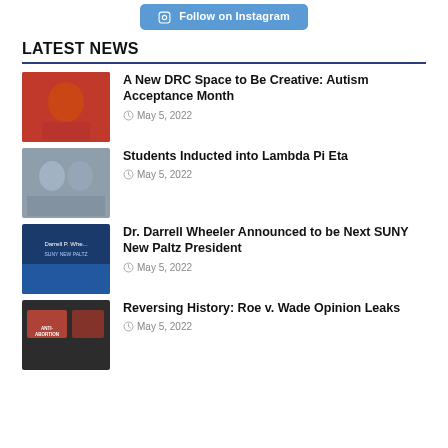[Figure (other): Follow on Instagram button with Instagram icon]
LATEST NEWS
[Figure (photo): Person in red background holding an object]
A New DRC Space to Be Creative: Autism Acceptance Month
May 5, 2022
[Figure (photo): Two students standing together]
Students Inducted into Lambda Pi Eta
May 5, 2022
[Figure (photo): Dr. Darrell Wheeler announcement banner with SUNY New Paltz branding]
Dr. Darrell Wheeler Announced to be Next SUNY New Paltz President
May 5, 2022
[Figure (photo): Protest crowd with anti-abortion signs]
Reversing History: Roe v. Wade Opinion Leaks
May 5, 2022